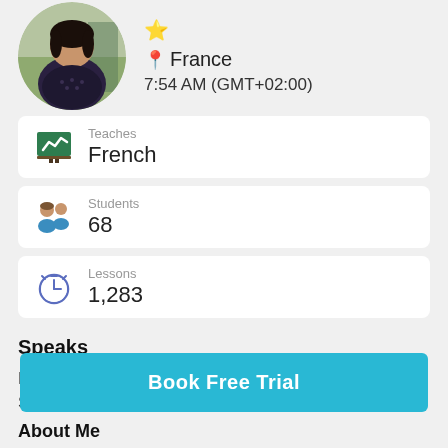[Figure (photo): Profile photo of a woman in a dark patterned top, circular crop]
France
7:54 AM (GMT+02:00)
Teaches
French
Students
68
Lessons
1,283
Speaks
French Native, English C2, German B1,
Book Free Trial
About Me